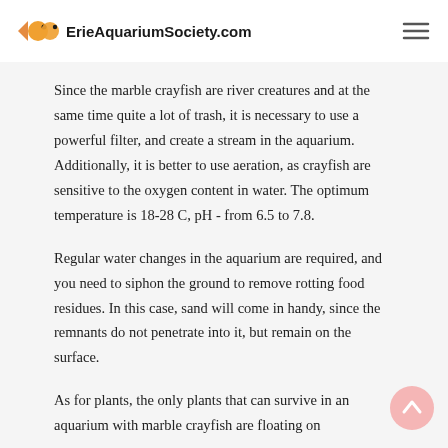ErieAquariumSociety.com
Since the marble crayfish are river creatures and at the same time quite a lot of trash, it is necessary to use a powerful filter, and create a stream in the aquarium. Additionally, it is better to use aeration, as crayfish are sensitive to the oxygen content in water. The optimum temperature is 18-28 C, pH - from 6.5 to 7.8.
Regular water changes in the aquarium are required, and you need to siphon the ground to remove rotting food residues. In this case, sand will come in handy, since the remnants do not penetrate into it, but remain on the surface.
As for plants, the only plants that can survive in an aquarium with marble crayfish are floating on